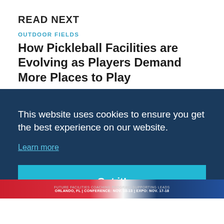READ NEXT
OUTDOOR FIELDS
How Pickleball Facilities are Evolving as Players Demand More Places to Play
AUGUST 8, 2022
ADVERTISEMENT
[Figure (screenshot): Advertisement banner with red and navy blue diagonal design and close button]
This website uses cookies to ensure you get the best experience on our website.
Learn more
Got it!
[Figure (screenshot): Bottom advertisement strip with red and navy blue design showing conference details: ORLANDO, FL | CONFERENCE: NOV. 10-13 | EXPO: NOV. 17-18]